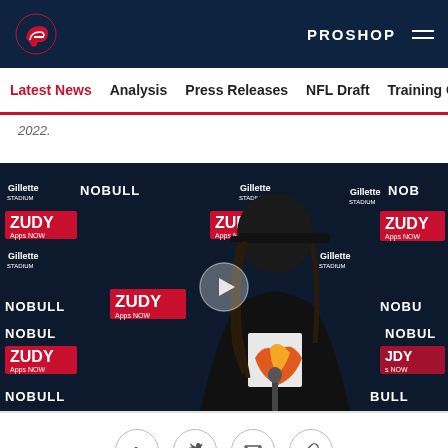New England Patriots website header with PROSHOP link and hamburger menu
Latest News
Analysis
Press Releases
NFL Draft
Training Camp
2022.
[Figure (photo): Video thumbnail showing a Patriots player in a black hoodie and black cap at a press conference podium with Gillette Stadium, NOBULL, and ZUDY Apps NOW sponsor logos on backdrop. A play button overlay is visible in the center.]
Social sharing icons: Facebook, Twitter, Email, Link